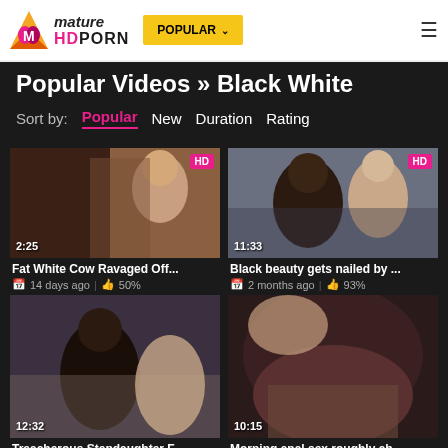Mature HD Porn — POPULAR navigation header
Popular Videos » Black White
Sort by: Popular | New | Duration | Rating
[Figure (screenshot): Video thumbnail 1: Fat White Cow Ravaged Off... — 2:25, HD, 14 days ago, 50%]
[Figure (screenshot): Video thumbnail 2: Black beauty gets nailed by ... — 11:33, HD, 2 months ago, 93%]
[Figure (screenshot): Video thumbnail 3: Treacherous Stepdaughter F... — 12:32, no HD badge, partial]
[Figure (screenshot): Video thumbnail 4: Morning anal sex roughly ab... — 10:15, no HD badge, partial]